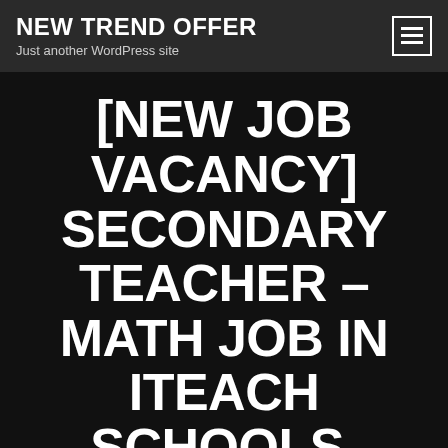NEW TREND OFFER
Just another WordPress site
[NEW JOB VACANCY] SECONDARY TEACHER – MATH JOB IN ITEACH SCHOOLS, (PUNE, MAHARASHTRA) –